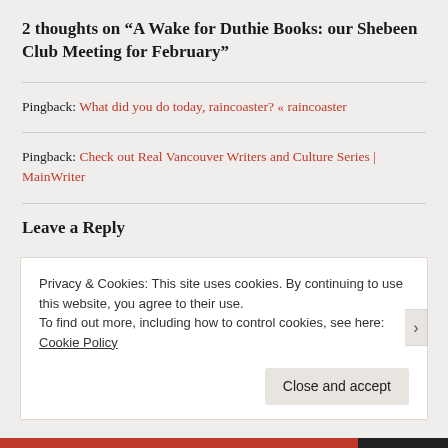2 thoughts on “A Wake for Duthie Books: our Shebeen Club Meeting for February”
Pingback: What did you do today, raincoaster? « raincoaster
Pingback: Check out Real Vancouver Writers and Culture Series | MainWriter
Leave a Reply
Privacy & Cookies: This site uses cookies. By continuing to use this website, you agree to their use.
To find out more, including how to control cookies, see here: Cookie Policy
Close and accept